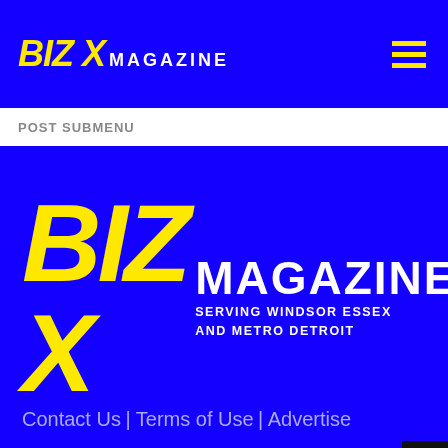BIZ X MAGAZINE
Post submenu
[Figure (logo): Biz X Magazine logo with large yellow italic BIZ X text and white MAGAZINE text, with SERVING WINDSOR ESSEX AND METRO DETROIT subtitle, on blue background]
Contact Us | Terms of Use | Advertise
© Copyright 2022 Biz X magazine